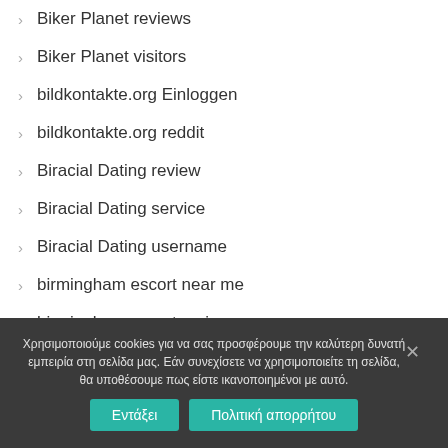Biker Planet reviews
Biker Planet visitors
bildkontakte.org Einloggen
bildkontakte.org reddit
Biracial Dating review
Biracial Dating service
Biracial Dating username
birmingham escort near me
birmingham escort review
Χρησιμοποιούμε cookies για να σας προσφέρουμε την καλύτερη δυνατή εμπειρία στη σελίδα μας. Εάν συνεχίσετε να χρησιμοποιείτε τη σελίδα, θα υποθέσουμε πως είστε ικανοποιημένοι με αυτό.
Εντάξει
Πολιτική απορρήτου